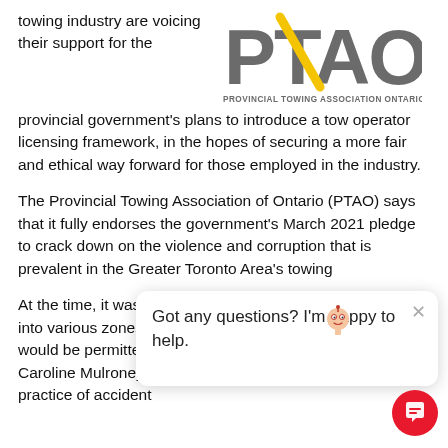towing industry are voicing their support for the provincial government's plans to introduce a tow operator licensing framework, in the hopes of securing a more fair and ethical way forward for those employed in the industry.
[Figure (logo): Provincial Towing Association Ontario Inc. (PTAO) logo — large grey letters PTAO with a yellow diagonal slash, and text 'PROVINCIAL TOWING ASSOCIATION ONTARIO INC.' below]
The Provincial Towing Association of Ontario (PTAO) says that it fully endorses the government's March 2021 pledge to crack down on the violence and corruption that is prevalent in the Greater Toronto Area's towing industry.
At the time, it was announced that the GTA would be split into various zones where only specific towing companies would be permitted to operate. Transportation Minister Caroline Mulroney said that this first step will "eliminate the practice of accident
[Figure (screenshot): Chat widget overlay: a popup bubble with mascot character saying 'Got any questions? I'm happy to help.' with a close X button, and a red circular chat button at bottom right.]